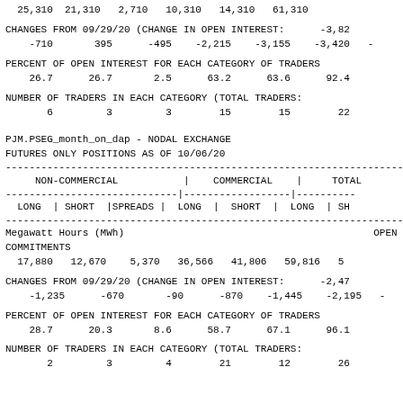25,310  21,310   2,710   10,310   14,310   61,310
CHANGES FROM 09/29/20 (CHANGE IN OPEN INTEREST:    -3,82
    -710       395      -495    -2,215    -3,155    -3,420    -
PERCENT OF OPEN INTEREST FOR EACH CATEGORY OF TRADERS
    26.7      26.7       2.5      63.2      63.6      92.4
NUMBER OF TRADERS IN EACH CATEGORY (TOTAL TRADERS:
       6         3         3        15        15        22
PJM.PSEG_month_on_dap - NODAL EXCHANGE
FUTURES ONLY POSITIONS AS OF 10/06/20
| LONG | SHORT | SPREADS | LONG | SHORT | LONG | SH |
| --- | --- | --- | --- | --- | --- | --- |
| 17,880 | 12,670 | 5,370 | 36,566 | 41,806 | 59,816 | 5 |
CHANGES FROM 09/29/20 (CHANGE IN OPEN INTEREST:    -2,47
    -1,235      -670       -90      -870    -1,445    -2,195    -
PERCENT OF OPEN INTEREST FOR EACH CATEGORY OF TRADERS
    28.7      20.3       8.6      58.7      67.1      96.1
NUMBER OF TRADERS IN EACH CATEGORY (TOTAL TRADERS:
       2         3         4        21        12        26